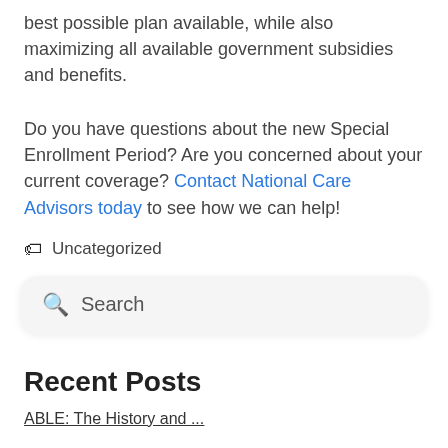best possible plan available, while also maximizing all available government subsidies and benefits.
Do you have questions about the new Special Enrollment Period? Are you concerned about your current coverage? Contact National Care Advisors today to see how we can help!
🏷 Uncategorized
Search
Recent Posts
ABLE: The History and ...